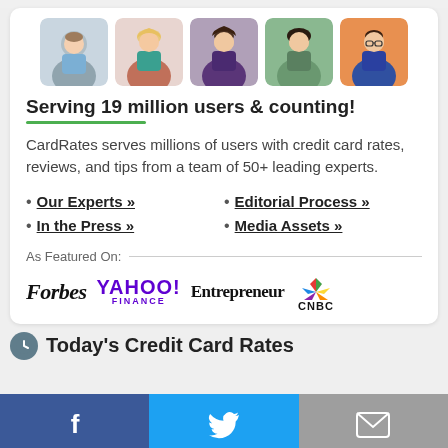[Figure (photo): Row of five expert headshot photos]
Serving 19 million users & counting!
CardRates serves millions of users with credit card rates, reviews, and tips from a team of 50+ leading experts.
Our Experts »
Editorial Process »
In the Press »
Media Assets »
As Featured On:
[Figure (logo): Logos: Forbes, Yahoo Finance, Entrepreneur, CNBC]
Today's Credit Card Rates
[Figure (illustration): Social share footer bar with Facebook, Twitter, and Email buttons]